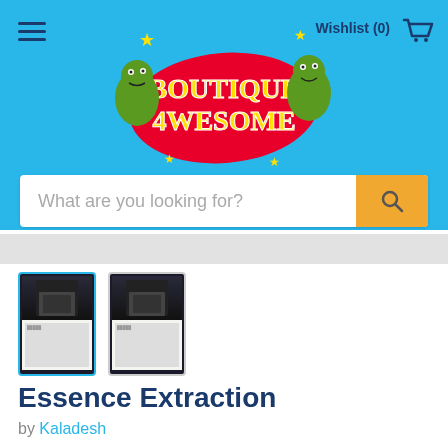[Figure (screenshot): Boutique Awesome store header with logo, hamburger menu, Wishlist (0) link, and shopping cart icon on blue background]
What are you looking for?
[Figure (photo): Two Magic: The Gathering card thumbnails for Essence Extraction, first one selected with blue border]
Essence Extraction
by Kaladesh
$0.49
Condition